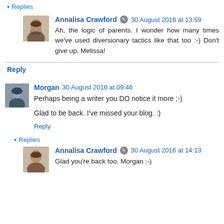▾ Replies
Annalisa Crawford 🔘 30 August 2016 at 13:59
Ah, the logic of parents. I wonder how many times we've used diversionary tactics like that too :-) Don't give up, Melissa!
Reply
Morgan  30 August 2016 at 09:46
Perhaps being a writer you DO notice it more ;-)
Glad to be back. I've missed your blog. :)
Reply
▾ Replies
Annalisa Crawford 🔘 30 August 2016 at 14:13
Glad you're back too, Morgan :-)